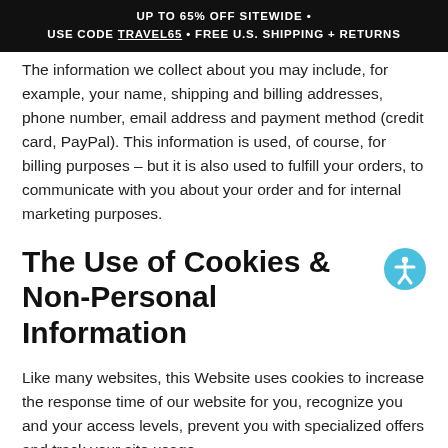UP TO 65% OFF SITEWIDE • USE CODE TRAVEL65 • FREE U.S. SHIPPING + RETURNS
The information we collect about you may include, for example, your name, shipping and billing addresses, phone number, email address and payment method (credit card, PayPal). This information is used, of course, for billing purposes – but it is also used to fulfill your orders, to communicate with you about your order and for internal marketing purposes.
The Use of Cookies & Non-Personal Information
Like many websites, this Website uses cookies to increase the response time of our website for you, recognize you and your access levels, prevent you with specialized offers and track your site usage.
Cookies Defined
Cookies are simply small pieces of data that are stored